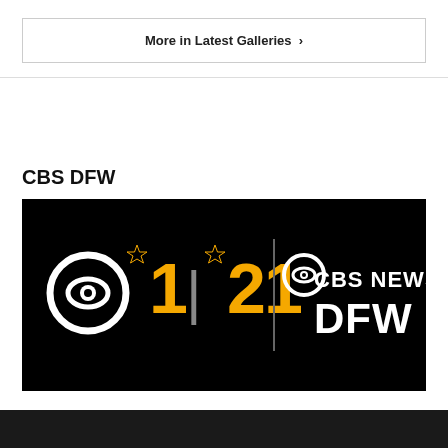More in Latest Galleries ›
CBS DFW
[Figure (logo): CBS DFW station logo on black background: CBS eye icon with '11|21' in yellow/gold with stars, a vertical divider line, then 'CBS NEWS DFW' in white text on the right side.]